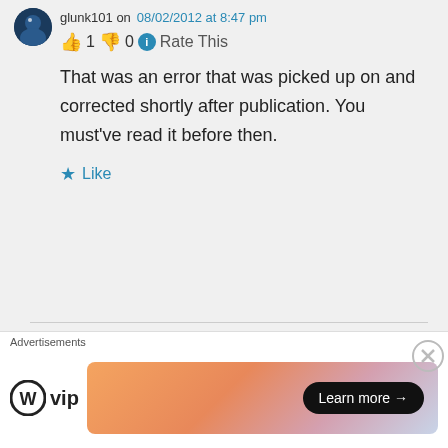glunk101 on 08/02/2012 at 8:47 pm
👍 1 👎 0 ℹ Rate This
That was an error that was picked up on and corrected shortly after publication. You must've read it before then.
★ Like
wanderernotlost on 08/02/2012 at 10:00 pm
👍 0 👎 2 ℹ Rate This
Advertisements
[Figure (logo): WordPress VIP logo with circular W icon and 'vip' text]
[Figure (illustration): Advertisement banner with gradient orange/pink/blue background and 'Learn more →' button]